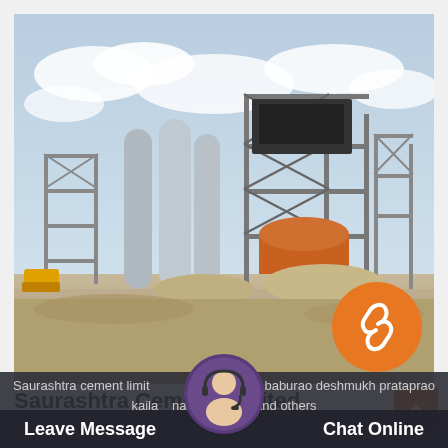[Figure (photo): Industrial cement plant construction site with steel framework structures, large cylindrical silos/tanks, heavy machinery, and construction materials on ground under partly cloudy sky.]
Saurashtra Cement Limited Company Profile
Saurashtra cement limited directors baburao deshmukh prataprao kailashnath bhandari and others